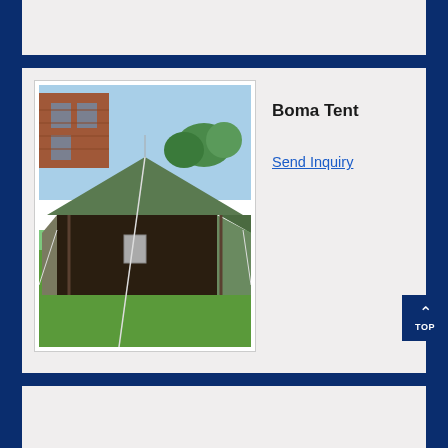[Figure (photo): Partial card at the top of the page, mostly cut off, showing a white/light background card area.]
[Figure (photo): Photo of a Boma Tent erected outdoors on a grass lawn with a brick building and trees in the background. The tent has a dark frame and green roof with side tarps and guy ropes.]
Boma Tent
Send Inquiry
[Figure (other): TOP button — dark navy square with an upward-pointing chevron arrow and the text TOP below it.]
[Figure (photo): Partial card at the bottom of the page, beginning of a new product listing card, content not visible.]